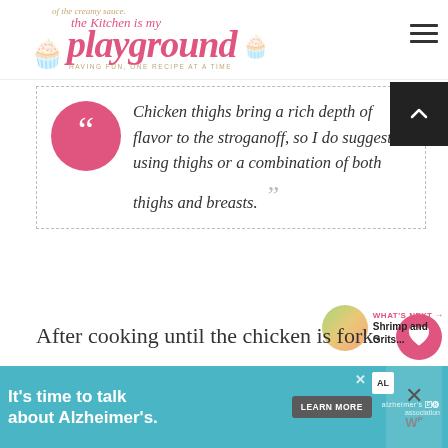The Kitchen is My Playground — HAVING FUN, ONE RECIPE AT A TIME
Chicken thighs bring a rich depth of flavor to the stroganoff, so I do suggest using thighs or a combination of both thighs and breasts.
After cooking until the chicken is fork-
[Figure (other): Advertisement banner: It's time to talk about Alzheimer's. Learn More. Alzheimer's Association logo.]